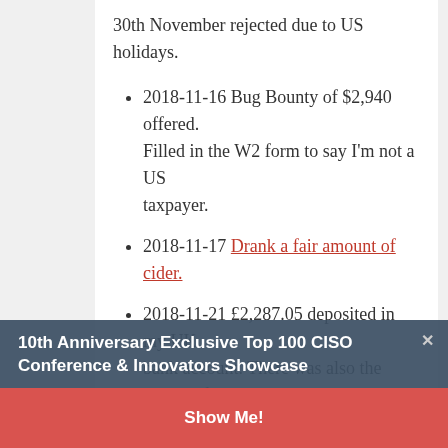30th November rejected due to US holidays.
2018-11-16 Bug Bounty of $2,940 offered. Filled in the W2 form to say I'm not a US taxpayer.
2018-11-17 Drank a fair amount of cider.
2018-11-21 £2,287.05 deposited in my UK bank account. There was also the option of receiving it via PayPal.
2018-12-06 Twitter fixed the issue and published the bounty payout. They let me know I was clear to publish.
10th Anniversary Exclusive Top 100 CISO Conference & Innovators Showcase